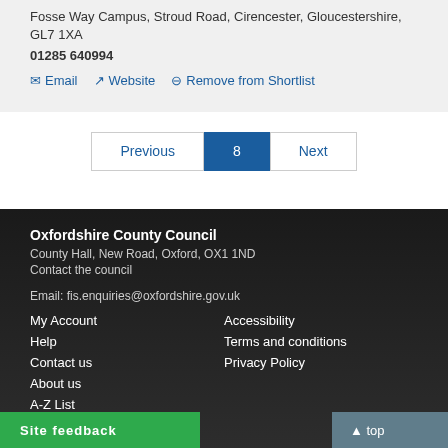Fosse Way Campus, Stroud Road, Cirencester, Gloucestershire, GL7 1XA
01285 640994
✉ Email   ↗ Website   ⊖ Remove from Shortlist
Previous  8  Next
Oxfordshire County Council
County Hall, New Road, Oxford, OX1 1ND
Contact the council

Email: fis.enquiries@oxfordshire.gov.uk
My Account   Accessibility
Help   Terms and conditions
Contact us   Privacy Policy
About us
A-Z List
Site feedback
top